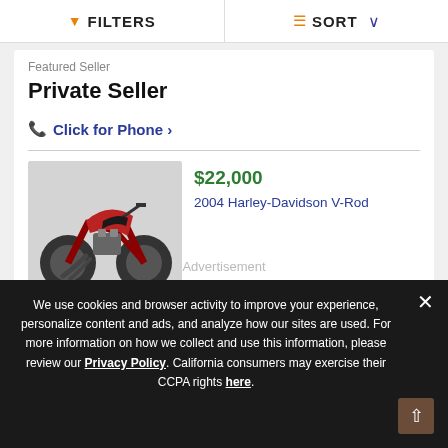FILTERS   SORT
Featured Seller
Private Seller
Click for Phone ›
$22,000
2004 Harley-Davidson V-Rod
Advertisement
We use cookies and browser activity to improve your experience, personalize content and ads, and analyze how our sites are used. For more information on how we collect and use this information, please review our Privacy Policy. California consumers may exercise their CCPA rights here.